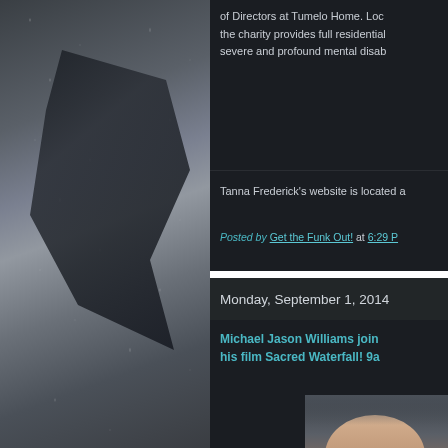[Figure (photo): Dark moody photo of what appears to be a bird or dark shape against a rainy window with water droplets, in dark blue-grey tones]
of Directors at Tumelo Home. Loc the charity provides full residential severe and profound mental disab
Tanna Frederick's website is located a
Posted by Get the Funk Out! at 6:29 P
Monday, September 1, 2014
Michael Jason Williams joins his film Sacred Waterfall! 9a
[Figure (photo): Partial view of a person's face/head with dark hair, cropped at edges]